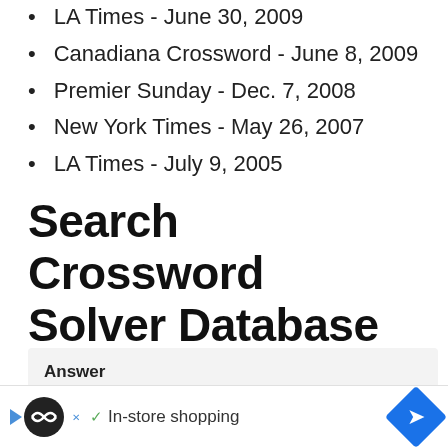LA Times - June 30, 2009
Canadiana Crossword - June 8, 2009
Premier Sunday - Dec. 7, 2008
New York Times - May 26, 2007
LA Times - July 9, 2005
Search Crossword Solver Database
Answer
ANSWER
[Figure (other): Advertisement banner with shopping icon and navigation arrow]